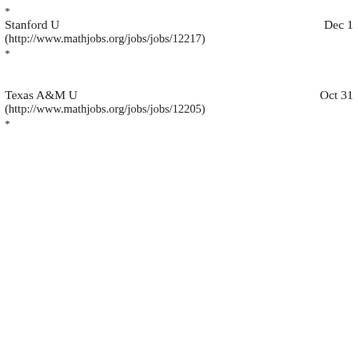*
Stanford U
(http://www.mathjobs.org/jobs/jobs/12217)
*
Dec 1
Texas A&M U
(http://www.mathjobs.org/jobs/jobs/12205)
*
Oct 31